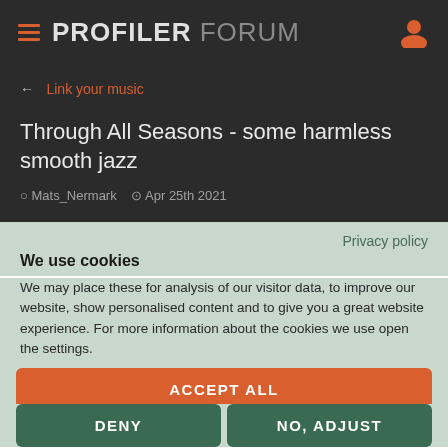PROFILER FORUM
← Link your music
Through All Seasons - some harmless smooth jazz
Mats_Nermark  Apr 25th 2021
Privacy policy
We use cookies
We may place these for analysis of our visitor data, to improve our website, show personalised content and to give you a great website experience. For more information about the cookies we use open the settings.
ACCEPT ALL
DENY
NO, ADJUST